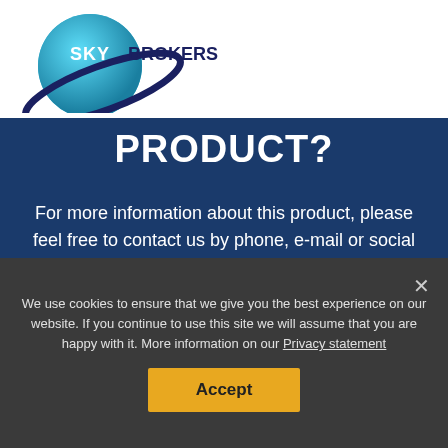[Figure (logo): Sky Brokers logo with globe and orbital ring]
PRODUCT?
For more information about this product, please feel free to contact us by phone, e-mail or social media!
Call +31 (0)6 305 36 169 or Email info@sky-brokers.com
We use cookies to ensure that we give you the best experience on our website. If you continue to use this site we will assume that you are happy with it. More information on our Privacy statement
Accept